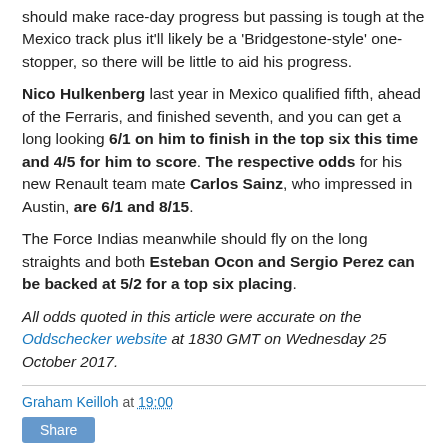should make race-day progress but passing is tough at the Mexico track plus it'll likely be a 'Bridgestone-style' one-stopper, so there will be little to aid his progress.
Nico Hulkenberg last year in Mexico qualified fifth, ahead of the Ferraris, and finished seventh, and you can get a long looking 6/1 on him to finish in the top six this time and 4/5 for him to score. The respective odds for his new Renault team mate Carlos Sainz, who impressed in Austin, are 6/1 and 8/15.
The Force Indias meanwhile should fly on the long straights and both Esteban Ocon and Sergio Perez can be backed at 5/2 for a top six placing.
All odds quoted in this article were accurate on the Oddschecker website at 1830 GMT on Wednesday 25 October 2017.
Graham Keilloh at 19:00
Share